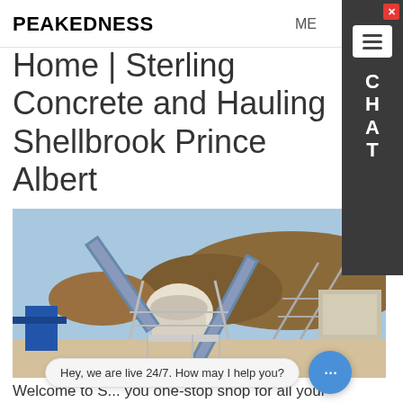PEAKEDNESS   ME
Home | Sterling Concrete and Hauling Shellbrook Prince Albert
[Figure (photo): Industrial concrete/stone crushing and conveyor plant machinery at an outdoor site with earthen mounds in the background]
Welcome to S... you one-stop shop for all your concrete and